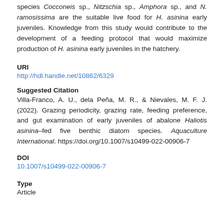species Cocconeis sp., Nitzschia sp., Amphora sp., and N. ramosissima are the suitable live food for H. asinina early juveniles. Knowledge from this study would contribute to the development of a feeding protocol that would maximize production of H. asinina early juveniles in the hatchery.
URI
http://hdl.handle.net/10862/6329
Suggested Citation
Villa-Franco, A. U., dela Peña, M. R., & Nievales, M. F. J. (2022). Grazing periodicity, grazing rate, feeding preference, and gut examination of early juveniles of abalone Haliotis asinina–fed five benthic diatom species. Aquaculture International. https://doi.org/10.1007/s10499-022-00906-7
DOI
10.1007/s10499-022-00906-7
Type
Article